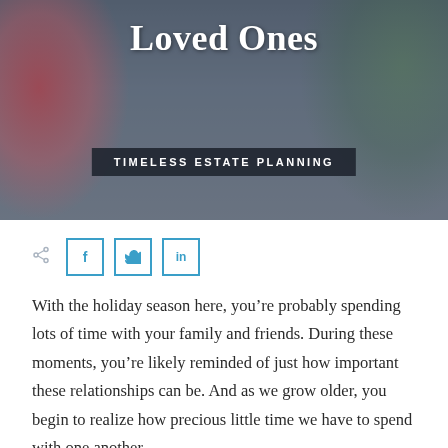[Figure (photo): Holiday-themed hero image with a person wearing a Santa hat, decorated with red and green festive elements, overlaid with dark tint]
Loved Ones
TIMELESS ESTATE PLANNING
[Figure (other): Social share buttons row with share icon and Facebook (f), Twitter (bird), LinkedIn (in) buttons with teal/blue borders]
With the holiday season here, you’re probably spending lots of time with your family and friends. During these moments, you’re likely reminded of just how important these relationships can be. And as we grow older, you begin to realize how precious little time we have to spend with one another.
Given life’s fleeting nature, using this time to talk